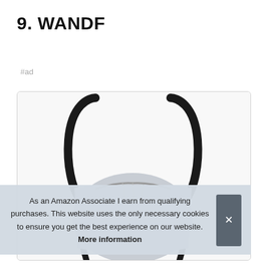9. WANDF
#ad
[Figure (photo): Photo of a light gray drawstring backpack/gym bag with black cord straps, shown against a white background inside a rounded-corner card]
As an Amazon Associate I earn from qualifying purchases. This website uses the only necessary cookies to ensure you get the best experience on our website. More information